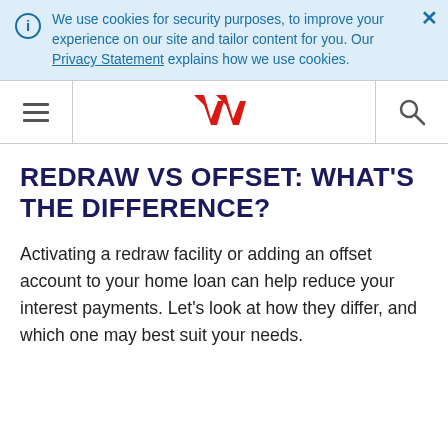We use cookies for security purposes, to improve your experience on our site and tailor content for you. Our Privacy Statement explains how we use cookies.
[Figure (logo): Westpac logo - red stylized W shape]
REDRAW VS OFFSET: WHAT'S THE DIFFERENCE?
Activating a redraw facility or adding an offset account to your home loan can help reduce your interest payments. Let’s look at how they differ, and which one may best suit your needs.